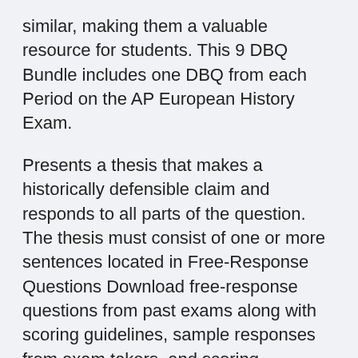similar, making them a valuable resource for students. This 9 DBQ Bundle includes one DBQ from each Period on the AP European History Exam.
Presents a thesis that makes a historically defensible claim and responds to all parts of the question. The thesis must consist of one or more sentences located in Free-Response Questions Download free-response questions from past exams along with scoring guidelines, sample responses from exam takers, and scoring distributions. If you are using assistive technology and need help accessing these PDFs in another format, contact Services for Students with Disabilities at 212-713-8333 or by email at ssd@info.collegeboard.org. Expand All Collapse All 2020 Question 1 — Document-Based Question (continued) Example of unacceptable theses: • "Although it is a